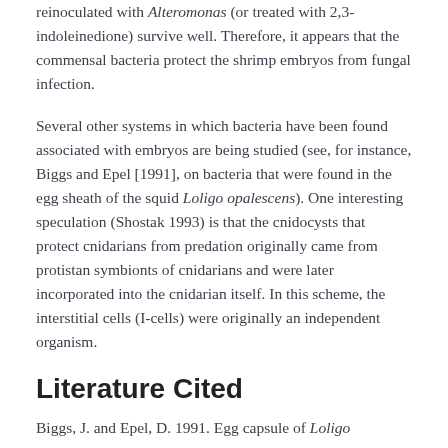reinoculated with Alteromonas (or treated with 2,3-indoleinedione) survive well. Therefore, it appears that the commensal bacteria protect the shrimp embryos from fungal infection.
Several other systems in which bacteria have been found associated with embryos are being studied (see, for instance, Biggs and Epel [1991], on bacteria that were found in the egg sheath of the squid Loligo opalescens). One interesting speculation (Shostak 1993) is that the cnidocysts that protect cnidarians from predation originally came from protistan symbionts of cnidarians and were later incorporated into the cnidarian itself. In this scheme, the interstitial cells (I-cells) were originally an independent organism.
Literature Cited
Biggs, J. and Epel, D. 1991. Egg capsule of Loligo